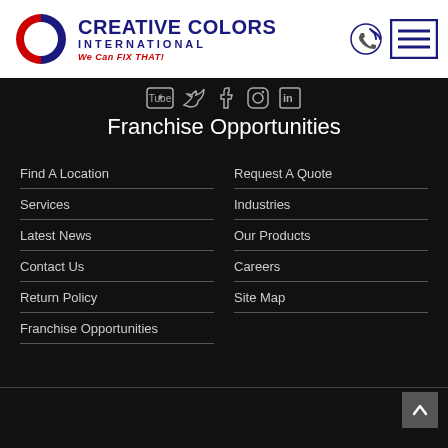[Figure (logo): Creative Colors International logo with red and blue CCI emblem, company name 'CREATIVE COLORS INTERNATIONAL' and tagline 'We Can FIX THAT!']
[Figure (infographic): Social media icons row: YouTube, Twitter, Facebook, Instagram, LinkedIn]
Franchise Opportunities
Find A Location
Request A Quote
Services
Industries
Latest News
Our Products
Contact Us
Careers
Return Policy
Site Map
Franchise Opportunities